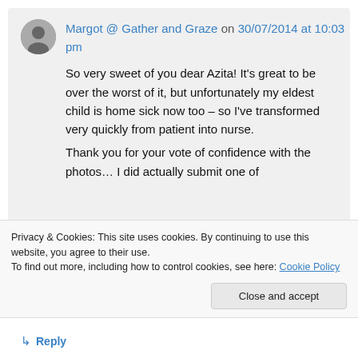Margot @ Gather and Graze on 30/07/2014 at 10:03 pm
So very sweet of you dear Azita! It’s great to be over the worst of it, but unfortunately my eldest child is home sick now too – so I’ve transformed very quickly from patient into nurse.
Thank you for your vote of confidence with the photos… I did actually submit one of
Privacy & Cookies: This site uses cookies. By continuing to use this website, you agree to their use.
To find out more, including how to control cookies, see here: Cookie Policy
Close and accept
↳ Reply